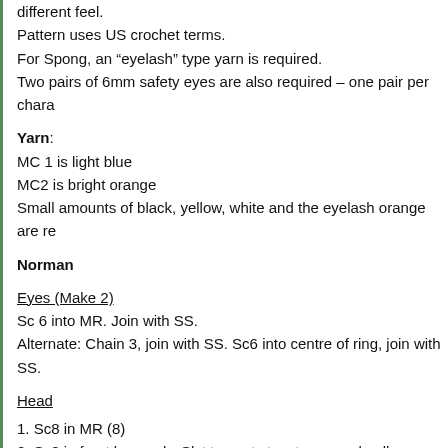different feel.
Pattern uses US crochet terms.
For Spong, an “eyelash” type yarn is required.
Two pairs of 6mm safety eyes are also required – one pair per chara
Yarn:
MC 1 is light blue
MC2 is bright orange
Small amounts of black, yellow, white and the eyelash orange are re
Norman
Eyes (Make 2)
Sc 6 into MR. Join with SS.
Alternate: Chain 3, join with SS. Sc6 into centre of ring, join with SS.
Head
1. Sc8 in MR (8)
2. Sc8 in front loop only. Slst to next st, cut yarn and pull through.
3. Join yarn in back loop of round 2, sc 7 in BLO (8)